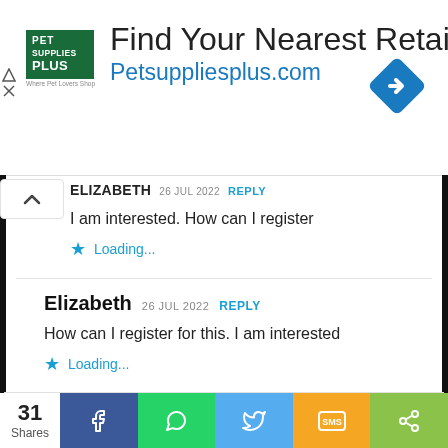[Figure (screenshot): Pet Supplies Plus advertisement banner: 'Find Your Nearest Retailer' with URL Petsuppliesplus.com and navigation diamond icon]
I am interested. How can I register
Loading...
Elizabeth 26 JUL 2022 REPLY
How can I register for this. I am interested
Loading...
31 Shares